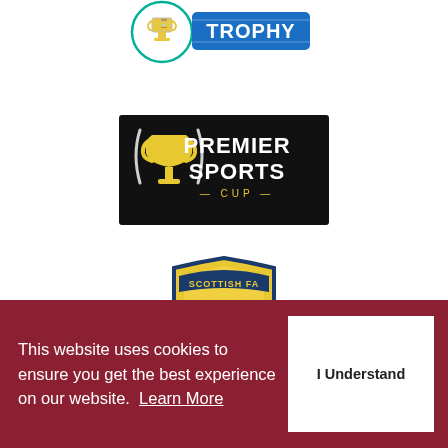[Figure (logo): Trophy logo at top of page - circular badge with trophy icon and 'TROPHY' text on blue banner]
[Figure (logo): Premier Sports Cup logo - black rectangular background with yellow trophy cup icon and 'PREMIER SPORTS CUP' text in yellow and white]
[Figure (logo): Scottish FA crest - yellow shield with red lion rampant, green stars, and 'SCOTTISH FA' text on banner]
[Figure (logo): Disability Confident logo - purple/pink bordered rectangle with 'disability confident' text]
This website uses cookies to ensure you get the best experience on our website. Learn More
I Understand